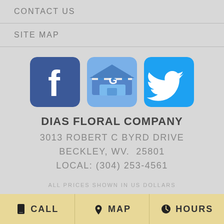CONTACT US
SITE MAP
[Figure (logo): Facebook, Google My Business, and Twitter social media icons side by side]
DIAS FLORAL COMPANY
3013 ROBERT C BYRD DRIVE
BECKLEY, WV.  25801
LOCAL: (304) 253-4561
ALL PRICES SHOWN IN US DOLLARS
CALL  MAP  HOURS